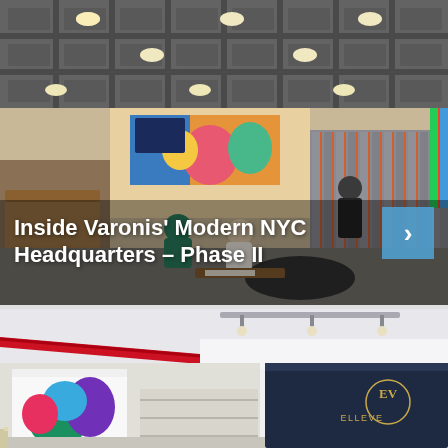[Figure (photo): Modern open office space with grid ceiling with recessed lights (top half), and colorful open-plan workspace with people seated on round furniture, tall fabric partitions, colorful wall murals; white text overlay reads 'Inside Varonis' Modern NYC Headquarters – Phase II' with a blue right-arrow navigation button]
Inside Varonis' Modern NYC Headquarters – Phase II
[Figure (photo): Modern office interior with white ceiling, red accent pipe/beam, dark navy reception desk with 'EV ELLEVEST' gold logo, colorful abstract artwork on wall, and track lighting]